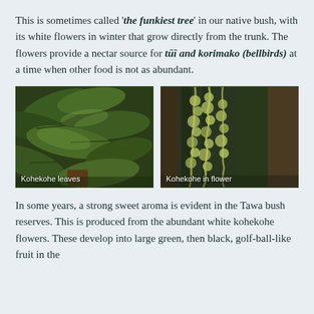This is sometimes called 'the funkiest tree' in our native bush, with its white flowers in winter that grow directly from the trunk. The flowers provide a nectar source for tūī and korimako (bellbirds) at a time when other food is not as abundant.
[Figure (photo): Two side-by-side photos: left shows Kohekohe leaves (large dark green tropical leaves), right shows Kohekohe in flower (hanging yellow-green flower clusters on tree trunk in forest)]
Kohekohe leaves
Kohekohe in flower
In some years, a strong sweet aroma is evident in the Tawa bush reserves. This is produced from the abundant white kohekohe flowers. These develop into large green, then black, golf-ball-like fruit in the